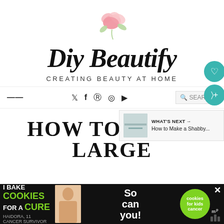[Figure (logo): Diy Beautify logo - cursive script with pink rose illustration above, subtitle CREATING BEAUTY AT HOME in spaced caps]
≡  𝕏  f  𝕡  📷  ▶   🔍 SEAR  8
HOW TO MAKE LARGE
[Figure (infographic): Advertisement banner: I Bake COOKIES For A CURE - Haidora, 11 Cancer Survivor / So can you! / cookies for kids cancer logo]
WHAT'S NEXT → How to Make a Shabby...